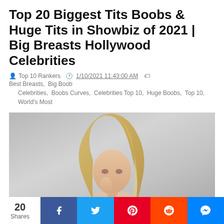Top 20 Biggest Tits Boobs & Huge Tits in Showbiz of 2021 | Big Breasts Hollywood Celebrities
Top 10 Rankers  1/10/2021 11:43:00 AM   Best Breasts,  Big Boob Celebrities,  Boobs Curves,  Celebrities Top 10,  Huge Boobs,  Top 10,  World's Most
[Figure (photo): Blonde woman posing against a grey background, looking over her shoulder]
20 Shares  Facebook  Twitter  Pinterest  Reddit  Messenger